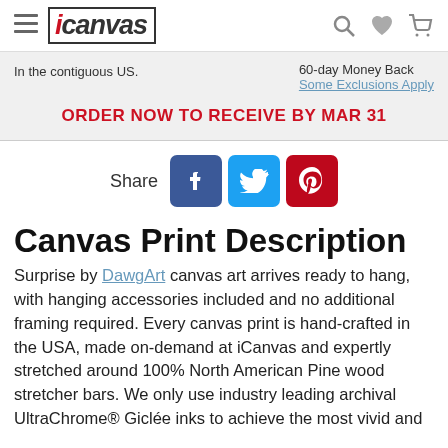iCanvas
In the contiguous US.
60-day Money Back
Some Exclusions Apply
ORDER NOW TO RECEIVE BY MAR 31
[Figure (other): Share icons for Facebook, Twitter, and Pinterest with Share label]
Canvas Print Description
Surprise by DawgArt canvas art arrives ready to hang, with hanging accessories included and no additional framing required. Every canvas print is hand-crafted in the USA, made on-demand at iCanvas and expertly stretched around 100% North American Pine wood stretcher bars. We only use industry leading archival UltraChrome® Giclée inks to achieve the most vivid and